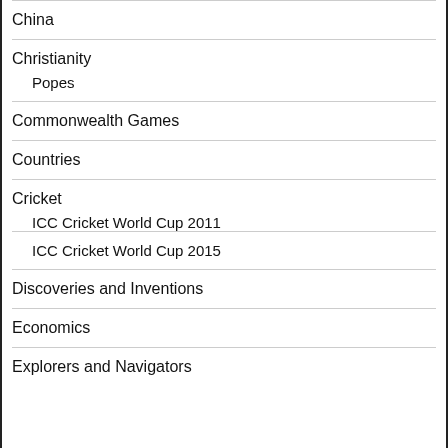China
Christianity
Popes
Commonwealth Games
Countries
Cricket
ICC Cricket World Cup 2011
ICC Cricket World Cup 2015
Discoveries and Inventions
Economics
Explorers and Navigators